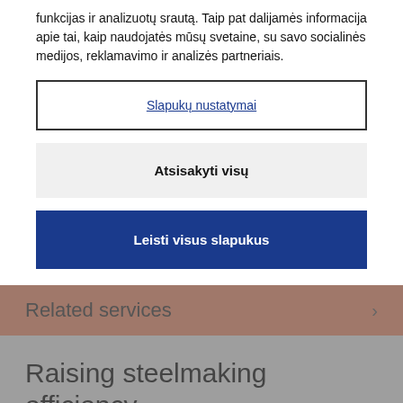funkcijas ir analizuotų srautą. Taip pat dalijamės informacija apie tai, kaip naudojatės mūsų svetaine, su savo socialinės medijos, reklamavimo ir analizės partneriais.
Slapukų nustatymai
Atsisakyti visų
Leisti visus slapukus
Related services
Raising steelmaking efficiency
Alfa Laval offers various solutions, such as air and plate